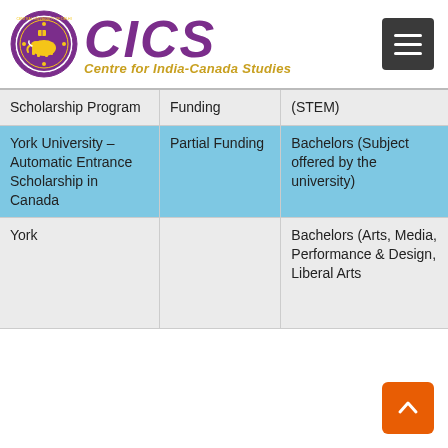[Figure (logo): CICS – Centre for India-Canada Studies logo with circular university seal and purple italic CICS lettering]
|  |  |  |
| --- | --- | --- |
| Scholarship Program | Funding | (STEM) |
| York University – Automatic Entrance Scholarship in Canada | Partial Funding | Bachelors (Subject offered by the university) |
| York |  | Bachelors (Arts, Media, Performance & Design, Liberal Arts |